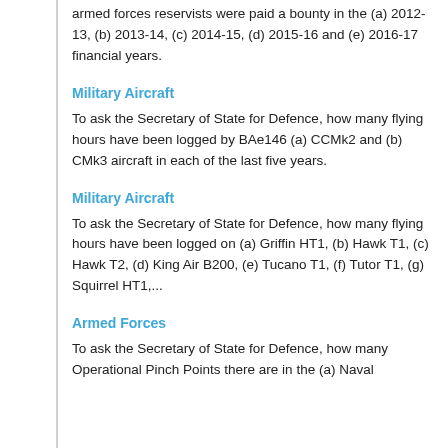armed forces reservists were paid a bounty in the (a) 2012-13, (b) 2013-14, (c) 2014-15, (d) 2015-16 and (e) 2016-17 financial years.
Military Aircraft
To ask the Secretary of State for Defence, how many flying hours have been logged by BAe146 (a) CCMk2 and (b) CMk3 aircraft in each of the last five years.
Military Aircraft
To ask the Secretary of State for Defence, how many flying hours have been logged on (a) Griffin HT1, (b) Hawk T1, (c) Hawk T2, (d) King Air B200, (e) Tucano T1, (f) Tutor T1, (g) Squirrel HT1,...
Armed Forces
To ask the Secretary of State for Defence, how many Operational Pinch Points there are in the (a) Naval